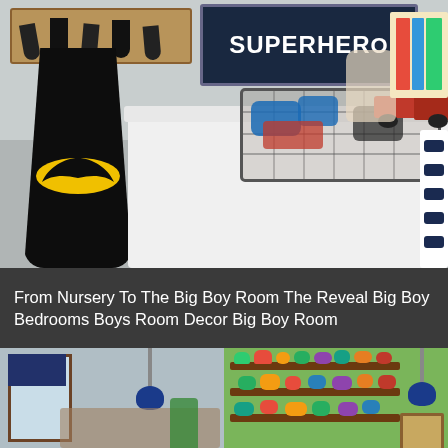[Figure (photo): A boy's bedroom with a Batman cape hanging on coat hooks on a wooden board, a white dresser with a wire basket filled with toy cars, a dark blue 'SUPERHERO' sign on the wall, a red toy truck, and books on a shelf. The dresser has navy and white striped details on the side.]
From Nursery To The Big Boy Room The Reveal Big Boy Bedrooms Boys Room Decor Big Boy Room
[Figure (photo): A boy's room with a window with navy roman shade, blue pendant lights, and a green wall section with three wooden shelves holding colorful plastic dinosaur toys. A framed picture is visible in the corner.]